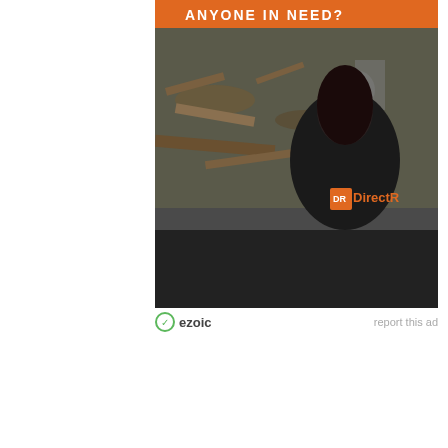[Figure (photo): Advertisement image showing a person wearing a black jacket with DirectR logo, surrounded by debris/rubble. Orange banner at top reads 'ANYONE IN NEED?' Partial view of the ad.]
ezoic   report this ad
[Figure (screenshot): Green 'SHOP NOW' button advertisement]
Bulk Ankle Cowboy Boots Sale
Ad